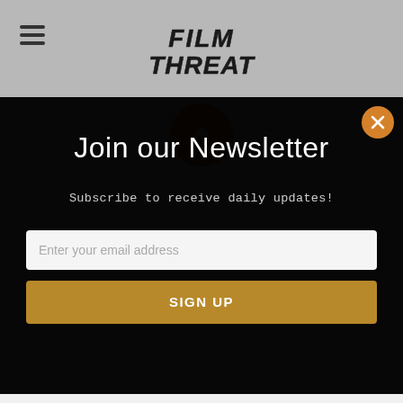[Figure (screenshot): Film Threat website header with hamburger menu on the left and Film Threat logo centered on a gray background. An orange circular icon is partially visible below the header.]
Join our Newsletter
Subscribe to receive daily updates!
Enter your email address
SIGN UP